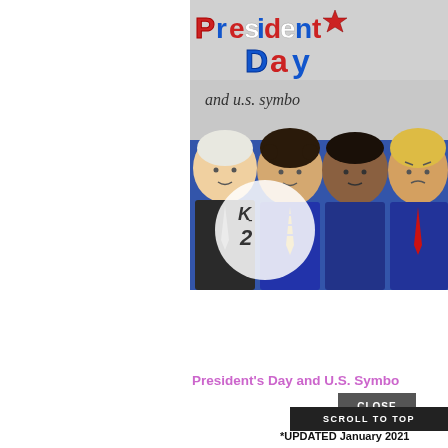[Figure (illustration): Colorful cartoon illustration showing President's Day theme. Top portion shows decorative text 'President's Day and U.S. Symbols' in bold red, white and blue lettering on a gray background. Bottom portion depicts cartoon-style caricatures of U.S. presidents grouped together wearing suits, with a K-2 grade label overlay.]
President's Day and U.S. Symbo...
CLOSE
SCROLL TO TOP
*UPDATED January 2021